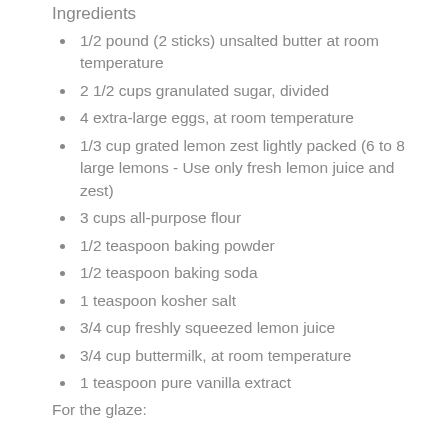Ingredients
1/2 pound (2 sticks) unsalted butter at room temperature
2 1/2 cups granulated sugar, divided
4 extra-large eggs, at room temperature
1/3 cup grated lemon zest lightly packed (6 to 8 large lemons - Use only fresh lemon juice and zest)
3 cups all-purpose flour
1/2 teaspoon baking powder
1/2 teaspoon baking soda
1 teaspoon kosher salt
3/4 cup freshly squeezed lemon juice
3/4 cup buttermilk, at room temperature
1 teaspoon pure vanilla extract
For the glaze: